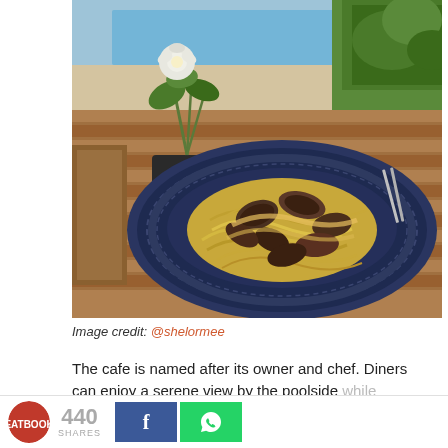[Figure (photo): Plate of yellow pasta (possibly spaghetti with mussel/clam sauce) on a dark navy ribbed plate, placed on a wooden table beside a potted white flower plant. Poolside background with greenery visible.]
Image credit: @shelormee
The cafe is named after its owner and chef. Diners can enjoy a serene view by the poolside while enjoying the cafe's pasta, burgers, and
440 SHARES